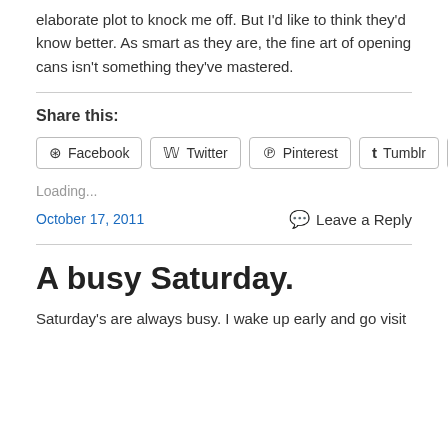elaborate plot to knock me off.  But I'd like to think they'd know better.  As smart as they are, the fine art of opening cans isn't something they've mastered.
Share this:
Facebook  Twitter  Pinterest  Tumblr  More
Loading...
October 17, 2011
Leave a Reply
A busy Saturday.
Saturday's are always busy.  I wake up early and go visit